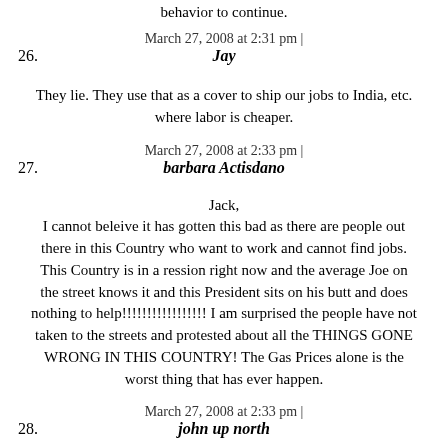behavior to continue.
March 27, 2008 at 2:31 pm |
26.   Jay
They lie. They use that as a cover to ship our jobs to India, etc. where labor is cheaper.
March 27, 2008 at 2:33 pm |
27.   barbara Actisdano
Jack, I cannot beleive it has gotten this bad as there are people out there in this Country who want to work and cannot find jobs. This Country is in a ression right now and the average Joe on the street knows it and this President sits on his butt and does nothing to help!!!!!!!!!!!!!!!!! I am surprised the people have not taken to the streets and protested about all the THINGS GONE WRONG IN THIS COUNTRY! The Gas Prices alone is the worst thing that has ever happen.
March 27, 2008 at 2:33 pm |
28.   john up north
AT&T does not have trouble finding skilled workers. AT&T is having trouble finding cheap skilled workers! Education